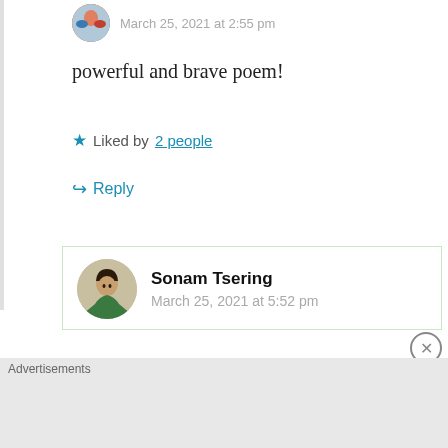March 25, 2021 at 2:55 pm
powerful and brave poem!
Liked by 2 people
Reply
Sonam Tsering
March 25, 2021 at 5:52 pm
[Figure (infographic): DuckDuckGo advertisement: Search, browse, and email with more privacy. All in One Free App.]